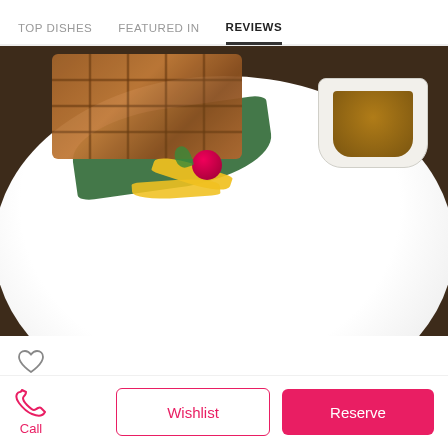TOP DISHES   FEATURED IN   REVIEWS
[Figure (photo): A white plate on a dark wooden table with waffles, mango slices, a raspberry, green leaves, and a small white cup of brown sauce/syrup]
Mango / Passionfruit Waffles - Meh
Call
Wishlist
Reserve